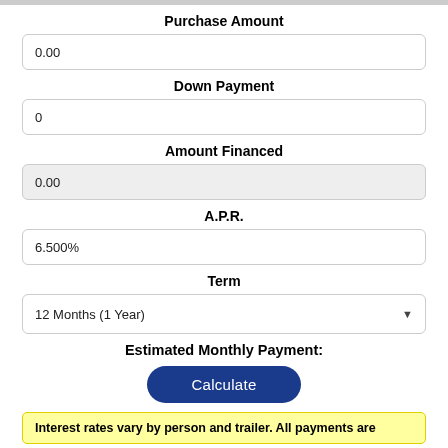Purchase Amount
0.00
Down Payment
0
Amount Financed
0.00
A.P.R.
6.500%
Term
12 Months (1 Year)
Estimated Monthly Payment:
Calculate
Interest rates vary by person and trailer. All payments are